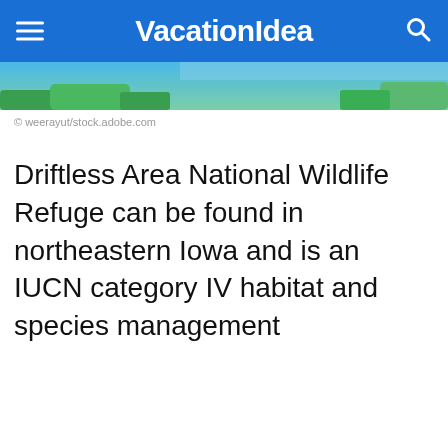VacationIdea
[Figure (photo): Partial view of a nature/outdoor photo showing blue sky and green trees, cropped at the top of the page]
© weerayut/stock.adobe.com
Driftless Area National Wildlife Refuge can be found in northeastern Iowa and is an IUCN category IV habitat and species management